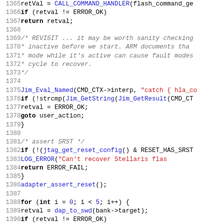[Figure (screenshot): Source code listing lines 1365-1396, C code for flash command handler with JTAG/SWD reset logic]